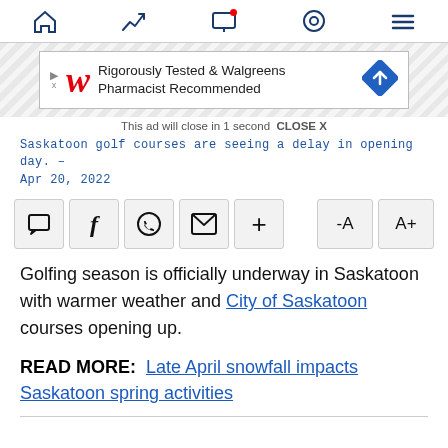[Navigation bar with home, trending, screen/notification, location, menu icons]
[Figure (screenshot): Walgreens advertisement banner: Rigorously Tested & Walgreens Pharmacist Recommended]
This ad will close in 1 second  CLOSE X
Saskatoon golf courses are seeing a delay in opening day. – Apr 20, 2022
[Figure (other): Share/action toolbar with comment, Facebook, WhatsApp, email, plus, minus-A, and A+ buttons]
Golfing season is officially underway in Saskatoon with warmer weather and City of Saskatoon courses opening up.
READ MORE:  Late April snowfall impacts Saskatoon spring activities